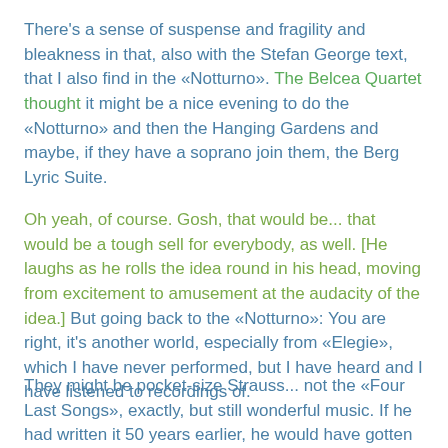There's a sense of suspense and fragility and bleakness in that, also with the Stefan George text, that I also find in the «Notturno». The Belcea Quartet thought it might be a nice evening to do the «Notturno» and then the Hanging Gardens and maybe, if they have a soprano join them, the Berg Lyric Suite.
Oh yeah, of course. Gosh, that would be... that would be a tough sell for everybody, as well. [He laughs as he rolls the idea round in his head, moving from excitement to amusement at the audacity of the idea.] But going back to the «Notturno»: You are right, it's another world, especially from «Elegie», which I have never performed, but I have heard and I have listened to recordings of.
They might be pocket-size Strauss... not the «Four Last Songs», exactly, but still wonderful music. If he had written it 50 years earlier, he would have gotten all the credit he was due.